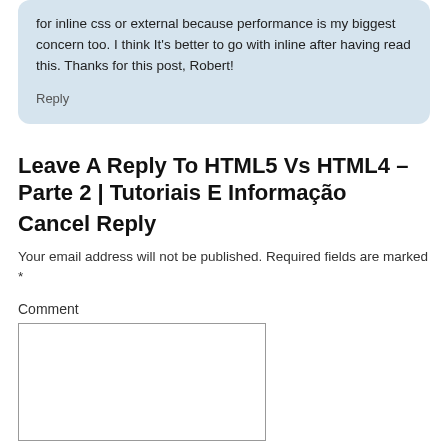for inline css or external because performance is my biggest concern too. I think It's better to go with inline after having read this. Thanks for this post, Robert!
Reply
Leave A Reply To HTML5 Vs HTML4 – Parte 2 | Tutoriais E Informação Cancel Reply
Your email address will not be published. Required fields are marked *
Comment